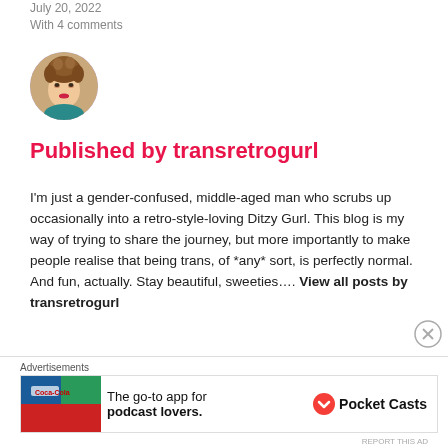July 20, 2022
With 4 comments
[Figure (photo): Circular avatar photo of transretrogurl, a person in glamorous makeup and retro styling]
Published by transretrogurl
I'm just a gender-confused, middle-aged man who scrubs up occasionally into a retro-style-loving Ditzy Gurl. This blog is my way of trying to share the journey, but more importantly to make people realise that being trans, of *any* sort, is perfectly normal. And fun, actually. Stay beautiful, sweeties.... View all posts by transretrogurl
Advertisements
[Figure (other): Pocket Casts advertisement banner: The go-to app for podcast lovers.]